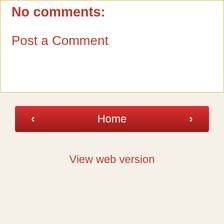No comments:
Post a Comment
‹
Home
›
View web version